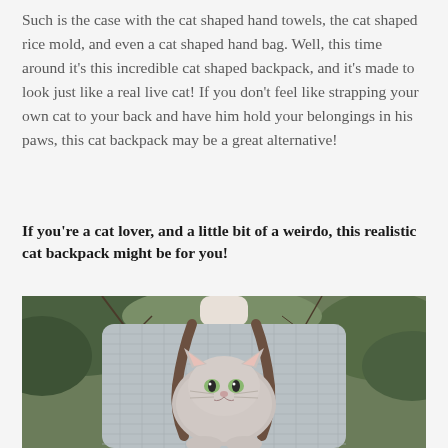Such is the case with the cat shaped hand towels, the cat shaped rice mold, and even a cat shaped hand bag. Well, this time around it's this incredible cat shaped backpack, and it's made to look just like a real live cat! If you don't feel like strapping your own cat to your back and have him hold your belongings in his paws, this cat backpack may be a great alternative!
If you're a cat lover, and a little bit of a weirdo, this realistic cat backpack might be for you!
[Figure (photo): Photo of a mannequin wearing a grey waffle-knit sweater with a realistic cat-shaped backpack on its back. The backpack looks like a fluffy grey-and-white cat with pointed ears and green eyes, hanging on dark brown straps. The background shows greenery and bare branches outdoors.]